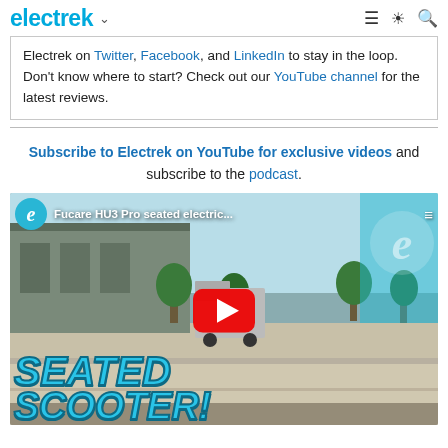electrek
Electrek on Twitter, Facebook, and LinkedIn to stay in the loop. Don't know where to start? Check out our YouTube channel for the latest reviews.
Subscribe to Electrek on YouTube for exclusive videos and subscribe to the podcast.
[Figure (screenshot): YouTube video thumbnail showing a man riding a seated electric scooter (Fucare HU3 Pro) in a parking lot. Red YouTube play button in center. Text overlay reads 'SEATED SCOOTER!' in large blue stylized font. Electrek channel logo visible.]